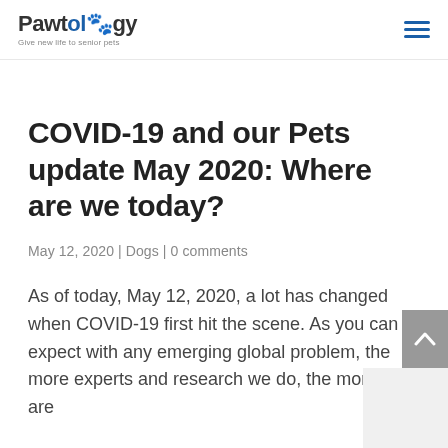Pawtology — Give new life to senior pets
COVID-19 and our Pets update May 2020: Where are we today?
May 12, 2020 | Dogs | 0 comments
As of today, May 12, 2020, a lot has changed when COVID-19 first hit the scene. As you can expect with any emerging global problem, the more experts and research we do, the more we are